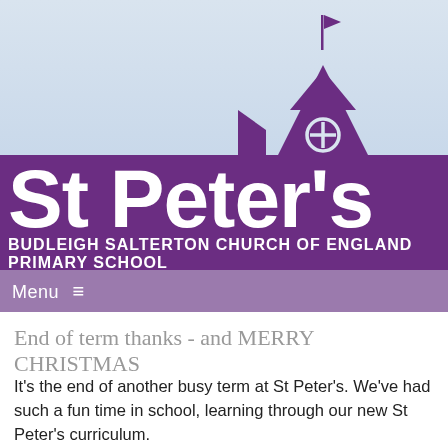[Figure (logo): St Peter's Budleigh Salterton Church of England Primary School logo with ship silhouette on light blue background and purple banner]
Menu ≡
End of term thanks - and MERRY CHRISTMAS
It's the end of another busy term at St Peter's. We've had such a fun time in school, learning through our new St Peter's curriculum.
I think I've seen everything this term! An amazing array of play experiences in the Foundation Stage. This has included a train, a chimney, a rocket factory and Santa's sleigh! … all created